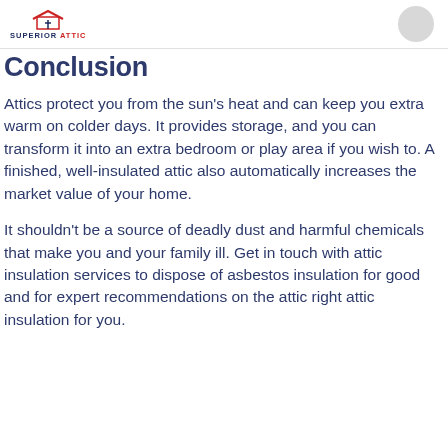SUPERIOR ATTIC
Conclusion
Attics protect you from the sun's heat and can keep you extra warm on colder days. It provides storage, and you can transform it into an extra bedroom or play area if you wish to. A finished, well-insulated attic also automatically increases the market value of your home.
It shouldn't be a source of deadly dust and harmful chemicals that make you and your family ill. Get in touch with attic insulation services to dispose of asbestos insulation for good and for expert recommendations on the attic right attic insulation for you.